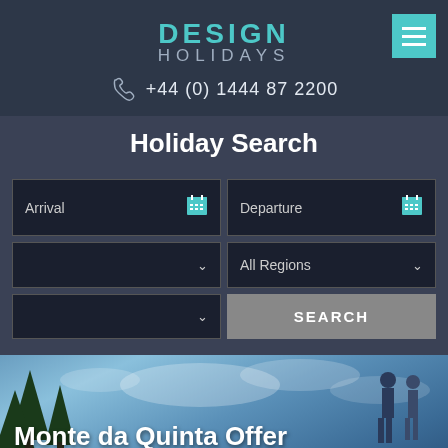DESIGN HOLIDAYS | +44 (0) 1444 87 2200
Holiday Search
[Figure (screenshot): Holiday search form with Arrival and Departure date pickers, region dropdown showing All Regions, additional dropdown, and a SEARCH button]
Monte da Quinta Offer
Design Holidays » Holidays In Europe » Luxury Holidays In